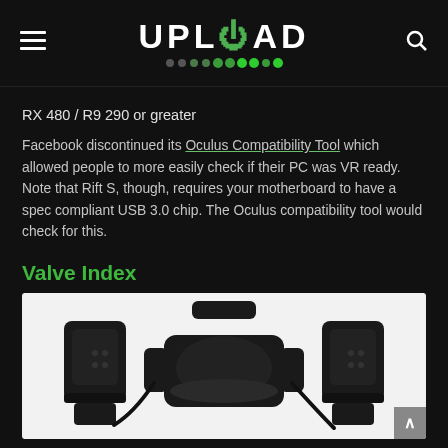UPLOAD
RX 480 / R9 290 or greater
Facebook discontinued its Oculus Compatibility Tool which allowed people to more easily check if their PC was VR ready. Note that Rift S, though, requires your motherboard to have a spec compliant USB 3.0 chip. The Oculus compatibility tool would check for this.
Valve Index
[Figure (photo): Valve Index VR headset with two base station controllers on a white background]